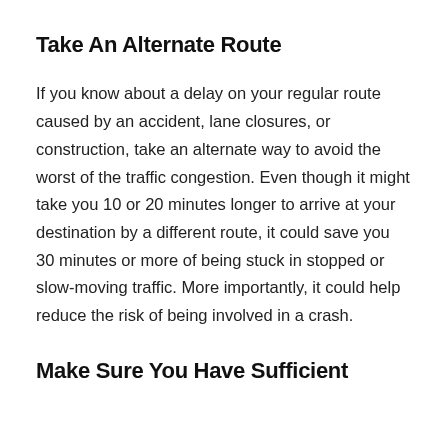Take An Alternate Route
If you know about a delay on your regular route caused by an accident, lane closures, or construction, take an alternate way to avoid the worst of the traffic congestion. Even though it might take you 10 or 20 minutes longer to arrive at your destination by a different route, it could save you 30 minutes or more of being stuck in stopped or slow-moving traffic. More importantly, it could help reduce the risk of being involved in a crash.
Make Sure You Have Sufficient